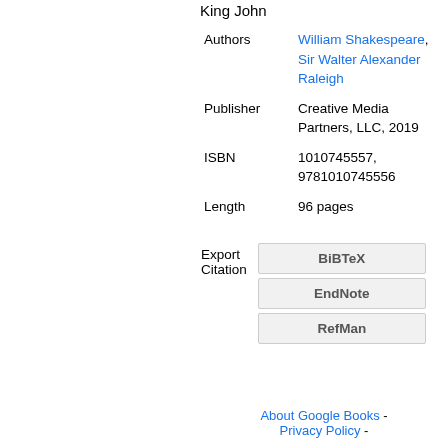King John
| Authors | William Shakespeare, Sir Walter Alexander Raleigh |
| Publisher | Creative Media Partners, LLC, 2019 |
| ISBN | 1010745557, 9781010745556 |
| Length | 96 pages |
Export Citation: BiBTeX, EndNote, RefMan
About Google Books - Privacy Policy -